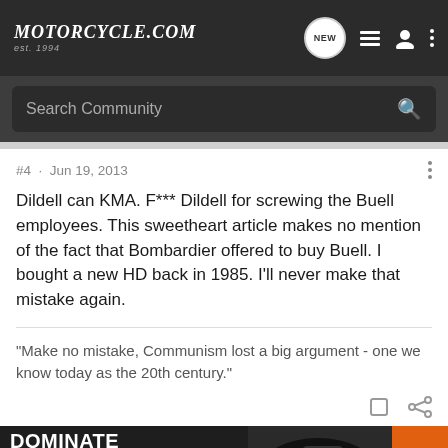Motorcycle.com est. 1994
Search Community
#4 · Jun 19, 2013
Dildell can KMA. F*** Dildell for screwing the Buell employees. This sweetheart article makes no mention of the fact that Bombardier offered to buy Buell. I bought a new HD back in 1985. I'll never make that mistake again.
"Make no mistake, Communism lost a big argument - one we know today as the 20th century."
[Figure (screenshot): KTM advertisement banner: 'DOMINATE THE STREET' with motorcycle image and KTM logo on orange background]